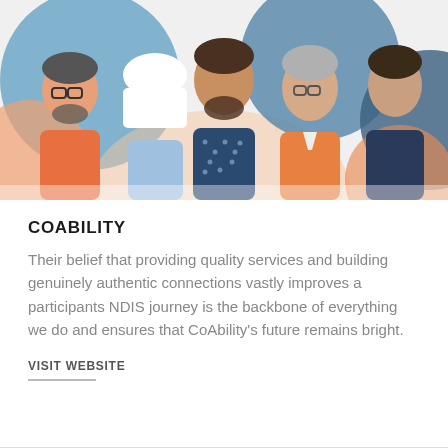[Figure (illustration): Colorful illustration of a diverse group of people standing together, including individuals in orange, blue, and patterned clothing, on a background of orange, blue, and peach abstract shapes.]
COABILITY
Their belief that providing quality services and building genuinely authentic connections vastly improves a participants NDIS journey is the backbone of everything we do and ensures that CoAbility's future remains bright.
VISIT WEBSITE